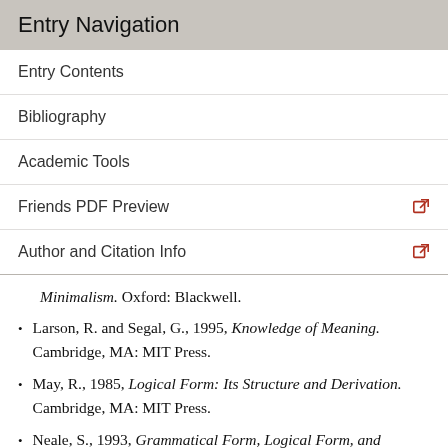Entry Navigation
Entry Contents
Bibliography
Academic Tools
Friends PDF Preview
Author and Citation Info
Minimalism. Oxford: Blackwell.
Larson, R. and Segal, G., 1995, Knowledge of Meaning. Cambridge, MA: MIT Press.
May, R., 1985, Logical Form: Its Structure and Derivation. Cambridge, MA: MIT Press.
Neale, S., 1993, Grammatical Form, Logical Form, and Incomplete Symbols. In A. Irvine & G. Wedeking, eds., Russell and Analytic Philosophy, Toronto: University of Toronto.
For discussion of the Russell…